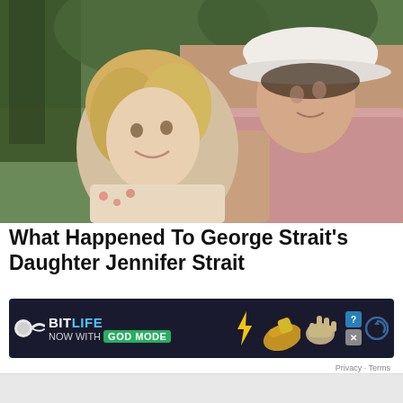[Figure (photo): A woman with blonde curly hair and a man wearing a white cowboy hat and pink shirt, seated together outdoors.]
What Happened To George Strait's Daughter Jennifer Strait
Ever since Jenifer Strait's death, George Strait stopped giving interviews and avoided every opportunity to... Country Th...
[Figure (screenshot): BitLife advertisement banner: 'NOW WITH GOD MODE' with sperm logo, pointing finger icons, and close/help buttons.]
Privacy · Terms